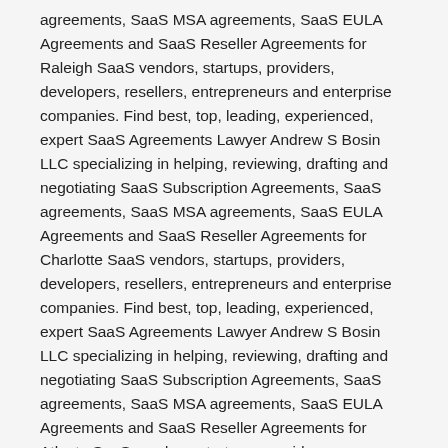agreements, SaaS MSA agreements, SaaS EULA Agreements and SaaS Reseller Agreements for Raleigh SaaS vendors, startups, providers, developers, resellers, entrepreneurs and enterprise companies. Find best, top, leading, experienced, expert SaaS Agreements Lawyer Andrew S Bosin LLC specializing in helping, reviewing, drafting and negotiating SaaS Subscription Agreements, SaaS agreements, SaaS MSA agreements, SaaS EULA Agreements and SaaS Reseller Agreements for Charlotte SaaS vendors, startups, providers, developers, resellers, entrepreneurs and enterprise companies. Find best, top, leading, experienced, expert SaaS Agreements Lawyer Andrew S Bosin LLC specializing in helping, reviewing, drafting and negotiating SaaS Subscription Agreements, SaaS agreements, SaaS MSA agreements, SaaS EULA Agreements and SaaS Reseller Agreements for Atlanta SaaS vendors, startups, providers, developers, resellers, entrepreneurs and enterprise companies. Find best, top, leading, experienced, expert SaaS